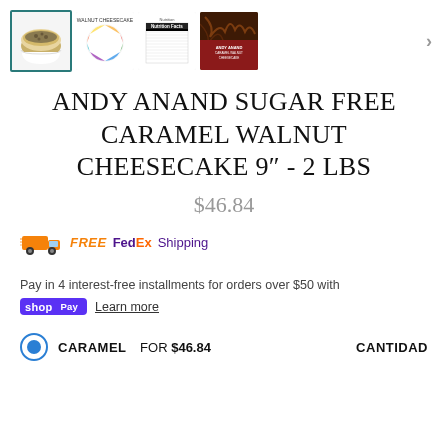[Figure (screenshot): Product image thumbnails gallery showing cheesecake product images: main cheesecake photo (selected with teal border), allergen wheel, nutrition label, and chocolate drizzle product image. Arrow button on right.]
ANDY ANAND SUGAR FREE CARAMEL WALNUT CHEESECAKE 9" - 2 LBS
$46.84
[Figure (infographic): FREE FedEx Shipping logo with orange delivery truck icon, FREE in orange italic bold, FedEx in purple/orange brand colors, Shipping in purple]
Pay in 4 interest-free installments for orders over $50 with
shop Pay  Learn more
CARAMEL FOR $46.84   CANTIDAD